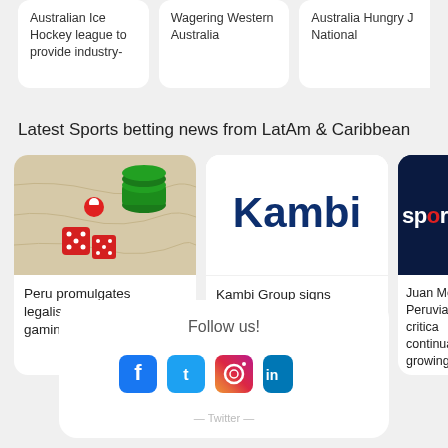Australian Ice Hockey league to provide industry-
Wagering Western Australia
Australian Hungry J National
Latest Sports betting news from LatAm & Caribbean
[Figure (photo): Red dice and casino chips on a map background]
Peru promulgates legalisation of online gaming and sports betting
[Figure (logo): Kambi logo on white background]
Kambi Group signs partnership with Ondiss platform to exclusively power
[Figure (logo): Sport logo on dark navy background, partially cut off]
Juan Mer Peruvian is critica continua growing'
Follow us!
[Figure (infographic): Social media icons: Facebook, Twitter, Instagram, and another, partially cut off]